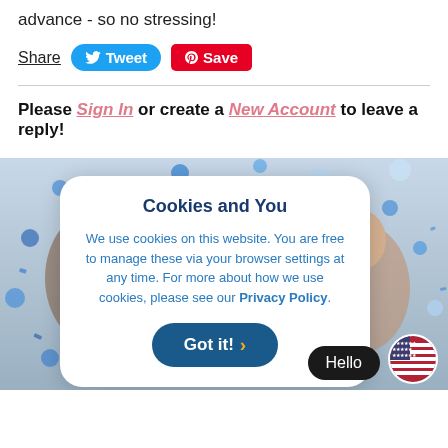advance - so no stressing!
Share  Tweet  Save
Please Sign In or create a New Account to leave a reply!
[Figure (photo): Two people with confetti falling around them, blue and white confetti celebration photo]
Cookies and You
We use cookies on this website. You are free to manage these via your browser settings at any time. For more about how we use cookies, please see our Privacy Policy.
Got it!